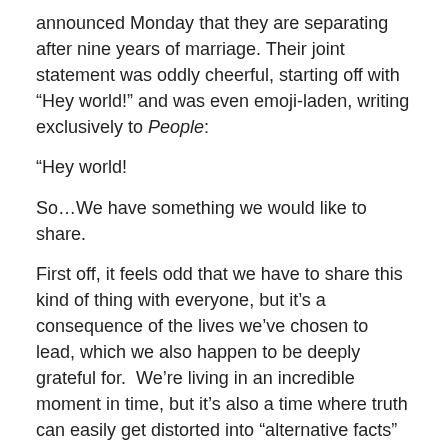announced Monday that they are separating after nine years of marriage. Their joint statement was oddly cheerful, starting off with “Hey world!” and was even emoji-laden, writing exclusively to People:
“Hey world!
So…We have something we would like to share.
First off, it feels odd that we have to share this kind of thing with everyone, but it’s a consequence of the lives we’ve chosen to lead, which we also happen to be deeply grateful for.  We’re living in an incredible moment in time, but it’s also a time where truth can easily get distorted into “alternative facts” ☺  So we want to share the truth so you know that if you didn’t read it here then it’s most certainly fiction.
We have lovingly chosen to separate as a couple.  We fell deeply in love so many years ago and have had a magical